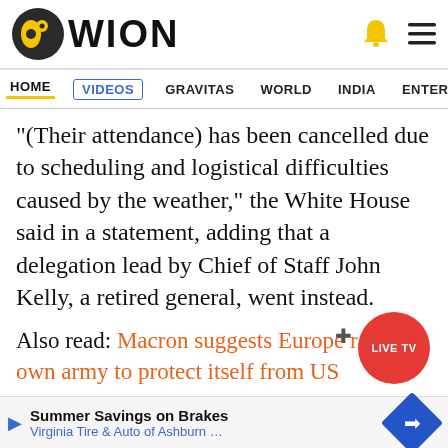WION
HOME  VIDEOS  GRAVITAS  WORLD  INDIA  ENTERTAINMENT  SPORTS
"(Their attendance) has been cancelled due to scheduling and logistical difficulties caused by the weather," the White House said in a statement, adding that a delegation lead by Chief of Staff John Kelly, a retired general, went instead.
Also read: Macron suggests Europe raise its own army to protect itself from US
The decision prompted a rash of criticism on Twitter...members...of